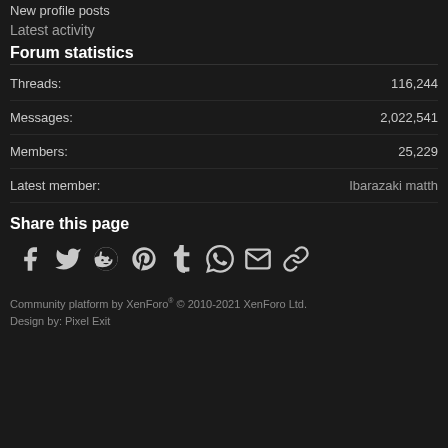New profile posts
Latest activity
Forum statistics
|  |  |
| --- | --- |
| Threads: | 116,244 |
| Messages: | 2,022,541 |
| Members: | 25,229 |
| Latest member: | Ibarazaki matth |
Share this page
[Figure (infographic): Social share icons: Facebook, Twitter, Reddit, Pinterest, Tumblr, WhatsApp, Email, Link]
Community platform by XenForo® © 2010-2021 XenForo Ltd. Design by: Pixel Exit